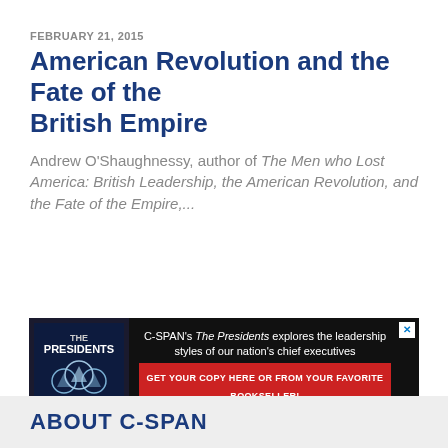FEBRUARY 21, 2015
American Revolution and the Fate of the British Empire
Andrew O'Shaughnessy, author of The Men who Lost America: British Leadership, the American Revolution, and the Fate of the Empire,...
[Figure (screenshot): C-SPAN advertisement banner for 'The Presidents' book — black background with book cover image, white text and red call-to-action strip]
Advertisement
ABOUT C-SPAN